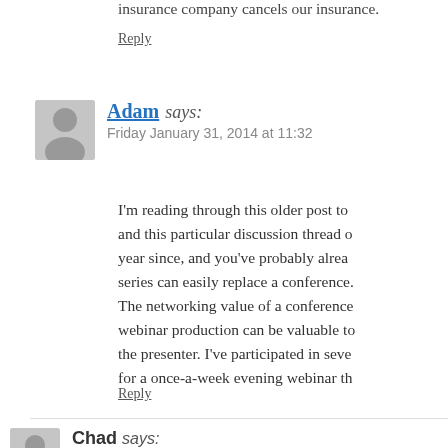insurance company cancels our insurance.
Reply
Adam says:
Friday January 31, 2014 at 11:32
I'm reading through this older post to and this particular discussion thread o year since, and you've probably alrea series can easily replace a conference. The networking value of a conference webinar production can be valuable to the presenter. I've participated in seve for a once-a-week evening webinar th
Reply
Chad says:
Sunday June 3, 2012 at 23:42